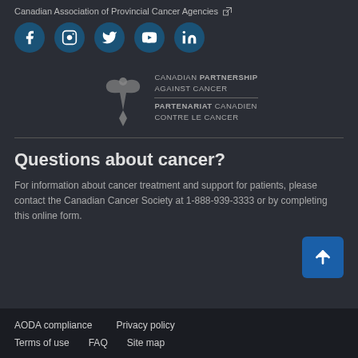Canadian Association of Provincial Cancer Agencies
[Figure (infographic): Social media icons: Facebook, Instagram, Twitter, YouTube, LinkedIn — dark teal circular buttons]
[Figure (logo): Canadian Partnership Against Cancer / Partenariat Canadien Contre le Cancer logo with stylized figure]
Questions about cancer?
For information about cancer treatment and support for patients, please contact the Canadian Cancer Society at 1-888-939-3333 or by completing this online form.
AODA compliance   Privacy policy   Terms of use   FAQ   Site map